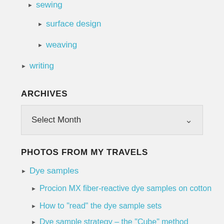sewing
surface design
weaving
writing
ARCHIVES
Select Month
PHOTOS FROM MY TRAVELS
Dye samples
Procion MX fiber-reactive dye samples on cotton
How to "read" the dye sample sets
Dye sample strategy – the "Cube" method